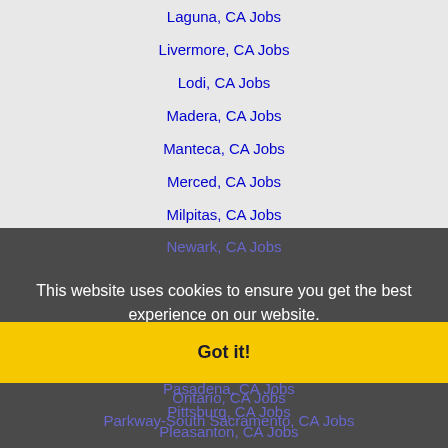Laguna, CA Jobs
Livermore, CA Jobs
Lodi, CA Jobs
Madera, CA Jobs
Manteca, CA Jobs
Merced, CA Jobs
Milpitas, CA Jobs
Modesto, CA Jobs
Mountain View, CA Jobs
Napa, CA Jobs
Newark, CA Jobs
This website uses cookies to ensure you get the best experience on our website.
Learn more
Ontario, CA Jobs
Parkway-South Sacramento, CA Jobs
Pasadena, CA Jobs
Got it!
Pittsburg, CA Jobs
Pleasanton, CA Jobs